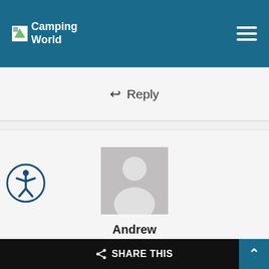Camping World
↩ Reply
[Figure (photo): Default user avatar — grey silhouette of a person]
Andrew
February 14, 2020 at 12:17 pm
We only use RV TP and chemical to closed black tank. But.... because we we trying to
SHARE THIS